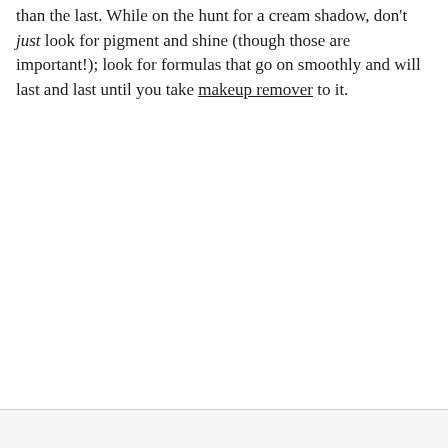than the last. While on the hunt for a cream shadow, don't just look for pigment and shine (though those are important!); look for formulas that go on smoothly and will last and last until you take makeup remover to it.